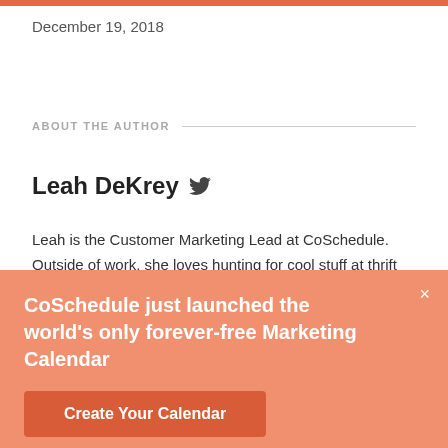December 19, 2018
ABOUT THE AUTHOR
Leah DeKrey
Leah is the Customer Marketing Lead at CoSchedUle. Outside of work, she loves hunting for cool stuff at thrift stores. If not for marketing, Leah would be a psychiatrist, given her fascination with Dateline NBC, true-crime podcasts, and Netflix documentaries about cults.
CoSchedule just launched the world's only forever-free Marketing Calendar
Create Your Calendar